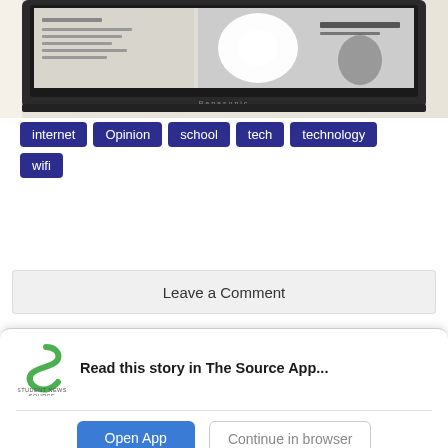[Figure (photo): Photo of a Panasonic flat-screen TV/monitor mounted on a wall, displaying a webpage with text 'THE DISENGAGING MATH TEACHER' visible on screen.]
internet
Opinion
school
tech
technology
wifi
Leave a Comment
Read this story in The Source App...
Open App
Continue in browser